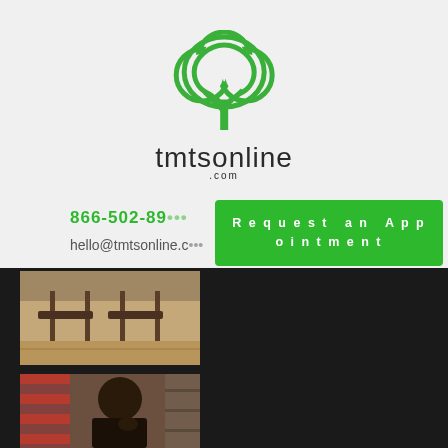[Figure (logo): tmtsonline.com green tree logo with brand name below]
866-502-89...
hello@tmtsonline.c...
Request an Appointment
[Figure (photo): Interior photo showing wooden chairs and floor]
[Figure (photo): Man sitting thoughtfully with an American flag in background]